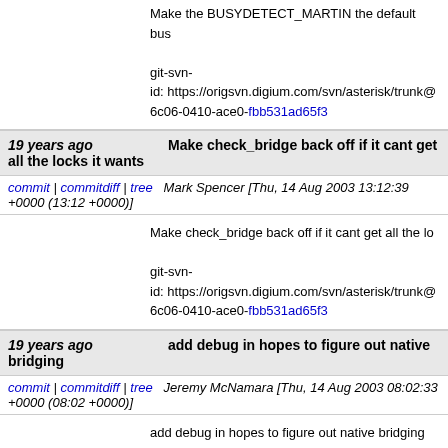Make the BUSYDETECT_MARTIN the default bus
git-svn-id: https://origsvn.digium.com/svn/asterisk/trunk@ 6c06-0410-ace0-fbb531ad65f3
19 years ago   Make check_bridge back off if it cant get all the locks it wants
commit | commitdiff | tree   Mark Spencer [Thu, 14 Aug 2003 13:12:39 +0000 (13:12 +0000)]
Make check_bridge back off if it cant get all the lo
git-svn-id: https://origsvn.digium.com/svn/asterisk/trunk@ 6c06-0410-ace0-fbb531ad65f3
19 years ago   add debug in hopes to figure out native bridging
commit | commitdiff | tree   Jeremy McNamara [Thu, 14 Aug 2003 08:02:33 +0000 (08:02 +0000)]
add debug in hopes to figure out native bridging
git-svn-id: https://origsvn.digium.com/svn/asterisk/trunk@ 6c06-0410-ace0-fbb531ad65f3